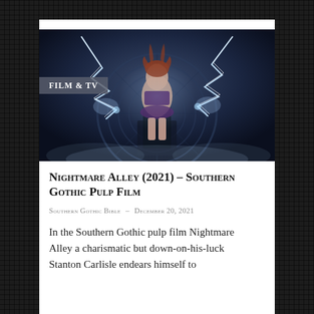[Figure (photo): A woman with red hair seated on an industrial/mechanical chair with lightning bolts surrounding her, in a dark cinematic sci-fi/gothic setting. A 'FILM & TV' badge overlay appears in the lower-left of the image.]
Nightmare Alley (2021) – Southern Gothic Pulp Film
Southern Gothic Bible  –  December 20, 2021
In the Southern Gothic pulp film Nightmare Alley a charismatic but down-on-his-luck Stanton Carlisle endears himself to